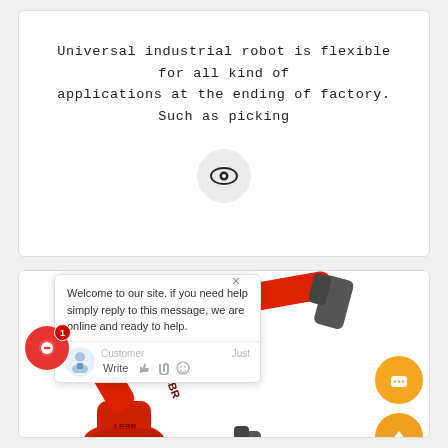Universal industrial robot is flexible for all kind of applications at the ending of factory. Such as picking
[Figure (screenshot): Eye/view icon in a light gray circle, representing a preview or visibility feature on a web page]
[Figure (screenshot): A website screenshot showing a live chat popup with the message 'Welcome to our site. If you need help simply reply to this message, we are online and ready to help.' alongside a 3D render of a red industrial robotic arm (LBBR brand). Orange chat and scroll-to-top floating buttons visible on the right side. Red chat button with notification badge on the left.]